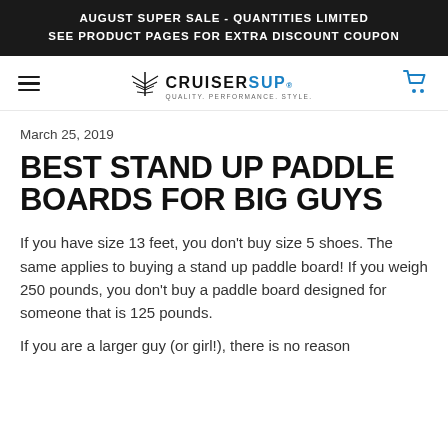AUGUST SUPER SALE - QUANTITIES LIMITED
SEE PRODUCT PAGES FOR EXTRA DISCOUNT COUPON
[Figure (logo): Cruiser SUP logo with agave plant icon and tagline QUALITY. PERFORMANCE. STYLE.]
March 25, 2019
BEST STAND UP PADDLE BOARDS FOR BIG GUYS
If you have size 13 feet, you don’t buy size 5 shoes. The same applies to buying a stand up paddle board! If you weigh 250 pounds, you don’t buy a paddle board designed for someone that is 125 pounds.
If you are a larger guy (or girl!), there is no reason